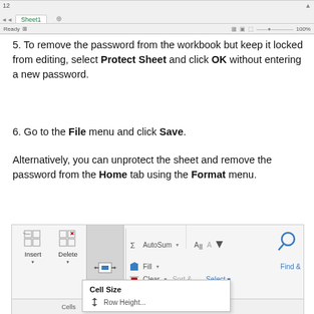[Figure (screenshot): Excel spreadsheet sheet tab bar showing Sheet1 tab and status bar with Ready label and zoom controls]
5. To remove the password from the workbook but keep it locked from editing, select Protect Sheet and click OK without entering a new password.
6. Go to the File menu and click Save.
Alternatively, you can unprotect the sheet and remove the password from the Home tab using the Format menu.
[Figure (screenshot): Excel ribbon showing Insert, Delete, Format buttons under Cells group, with AutoSum, Fill, Clear options on right, Sort & Filter and Find & Select buttons, and a dropdown showing Cell Size section with Row Height option]